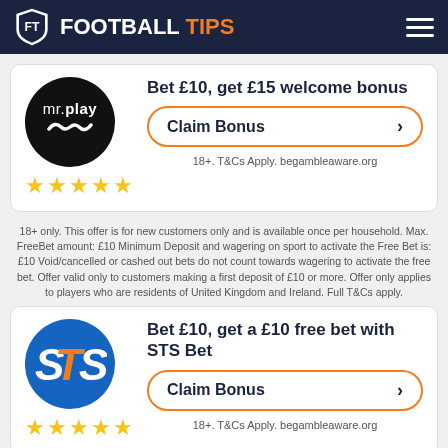FOOTBALL TIPS
[Figure (logo): mr.play circular black logo with mustache icon]
Bet £10, get £15 welcome bonus
Claim Bonus
18+. T&Cs Apply. begambleaware.org
18+ only. This offer is for new customers only and is available once per household. Max. FreeBet amount: £10 Minimum Deposit and wagering on sport to activate the Free Bet is: £10 Void/cancelled or cashed out bets do not count towards wagering to activate the free bet. Offer valid only to customers making a first deposit of £10 or more. Offer only applies to players who are residents of United Kingdom and Ireland. Full T&Cs apply.
[Figure (logo): STS Bet circular blue logo with orange and white STS lettering]
Bet £10, get a £10 free bet with STS Bet
Claim Bonus
18+. T&Cs Apply. begambleaware.org